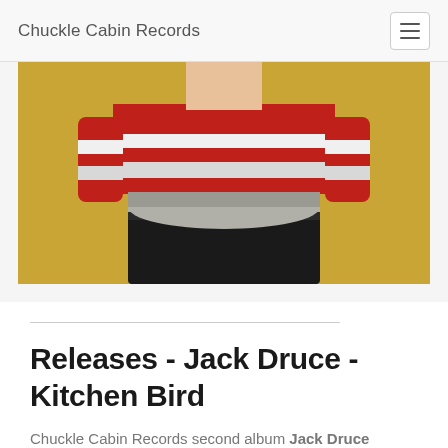Chuckle Cabin Records
[Figure (photo): Cropped photo of a person wearing a red and white striped shirt tucked into black shorts, against a gold/yellow background. Only the torso and lower body are visible.]
Releases - Jack Druce - Kitchen Bird
Chuckle Cabin Records second album Jack Druce